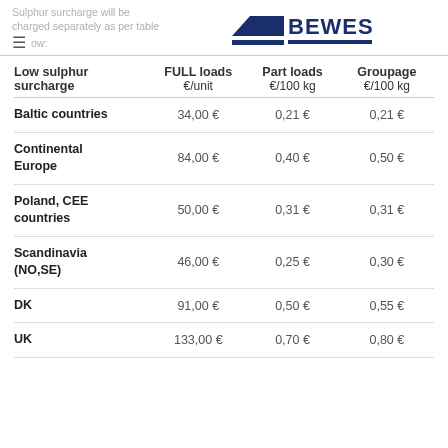Sulphur surcharge will be charged separately as per table below:
[Figure (logo): Beweship company logo in dark blue]
| Low sulphur surcharge | FULL loads €/unit | Part loads €/100 kg | Groupage €/100 kg |
| --- | --- | --- | --- |
| Baltic countries | 34,00 € | 0,21 € | 0,21 € |
| Continental Europe | 84,00 € | 0,40 € | 0,50 € |
| Poland, CEE countries | 50,00 € | 0,31 € | 0,31 € |
| Scandinavia (NO,SE) | 46,00 € | 0,25 € | 0,30 € |
| DK | 91,00 € | 0,50 € | 0,55 € |
| UK | 133,00 € | 0,70 € | 0,80 € |